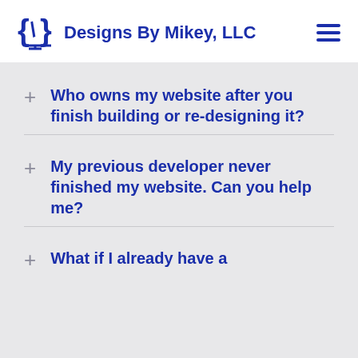Designs By Mikey, LLC
Who owns my website after you finish building or re-designing it?
My previous developer never finished my website. Can you help me?
What if I already have a...